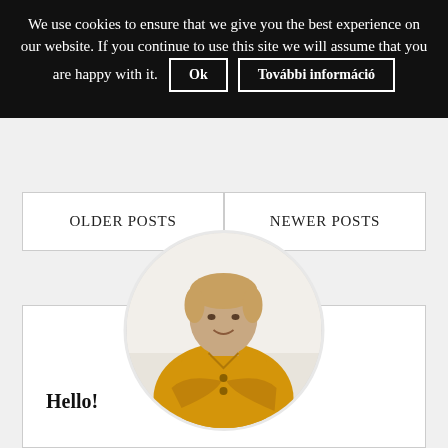We use cookies to ensure that we give you the best experience on our website. If you continue to use this site we will assume that you are happy with it.  Ok  További információ
OLDER POSTS
NEWER POSTS
[Figure (photo): Circular profile photo of a woman with short blonde hair wearing a yellow shirt, arms crossed, sitting against a light background.]
Hello!